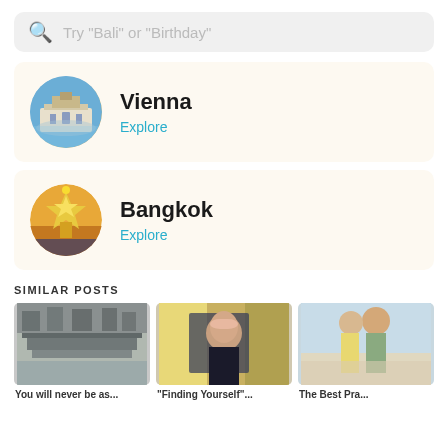Try "Bali" or "Birthday"
Vienna
Explore
Bangkok
Explore
SIMILAR POSTS
[Figure (photo): Three travel blog post preview images: Asian rooftop architecture, woman in city with pink ear muffs, couple on beach]
You will never be as...
"Finding Yourself"...
The Best Pra...